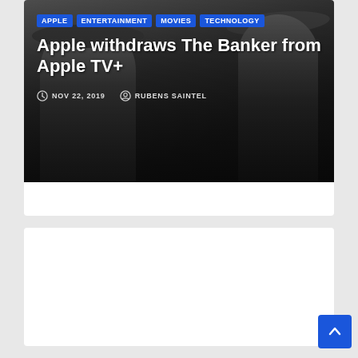[Figure (photo): Grayscale photo of two men in suits and hats, used as article hero image background]
APPLE
ENTERTAINMENT
MOVIES
TECHNOLOGY
Apple withdraws The Banker from Apple TV+
NOV 22, 2019   RUBENS SAINTEL
[Figure (other): Empty white card / advertisement placeholder area]